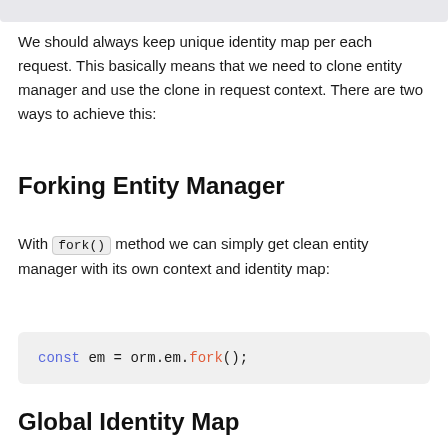We should always keep unique identity map per each request. This basically means that we need to clone entity manager and use the clone in request context. There are two ways to achieve this:
Forking Entity Manager
With fork() method we can simply get clean entity manager with its own context and identity map:
[Figure (screenshot): Code block showing: const em = orm.em.fork();]
Global Identity Map